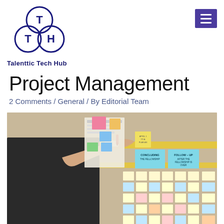[Figure (logo): Talenttic Tech Hub logo with three interlocked circles containing letters T, T, H]
[Figure (other): Hamburger menu button (three horizontal lines on dark purple background)]
Project Management
2 Comments / General / By Editorial Team
[Figure (photo): Person in a business suit writing on a sticky note board filled with colorful post-it notes organized in columns]